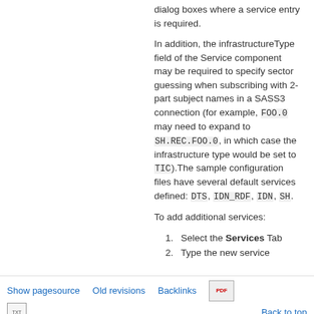dialog boxes where a service entry is required.
In addition, the infrastructureType field of the Service component may be required to specify sector guessing when subscribing with 2-part subject names in a SASS3 connection (for example, FOO.0 may need to expand to SH.REC.FOO.0, in which case the infrastructure type would be set to TIC).The sample configuration files have several default services defined: DTS, IDN_RDF, IDN, SH.
To add additional services:
1. Select the Services Tab
2. Type the new service
Show pagesource   Old revisions   Backlinks   Back to top